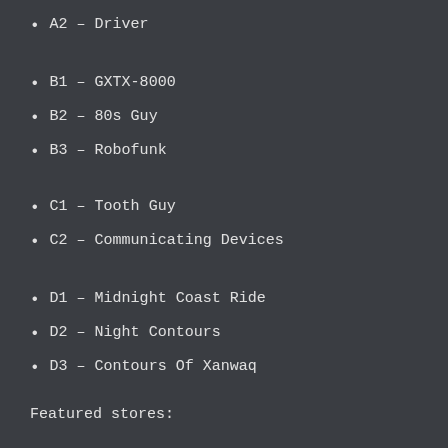A2 – Driver
B1 – GXTX-8000
B2 – 80s Guy
B3 – Robofunk
C1 – Tooth Guy
C2 – Communicating Devices
D1 – Midnight Coast Ride
D2 – Night Contours
D3 – Contours Of Xanwaq
Featured stores: